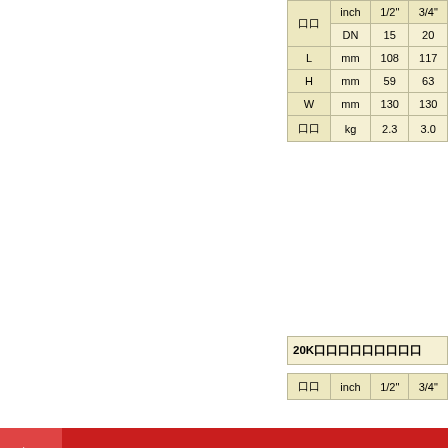|  | inch | 1/2" | 3/4" |
| --- | --- | --- | --- |
| 口口 | DN | 15 | 20 |
| L | mm | 108 | 117 |
| H | mm | 59 | 63 |
| W | mm | 130 | 130 |
| 口口 | kg | 2.3 | 3.0 |
20K口口口口口口口口口
| 口口 | inch | 1/2" | 3/4" |
| --- | --- | --- | --- |
口口口口
口口口口
口口
021-63815099
口口
15000936008